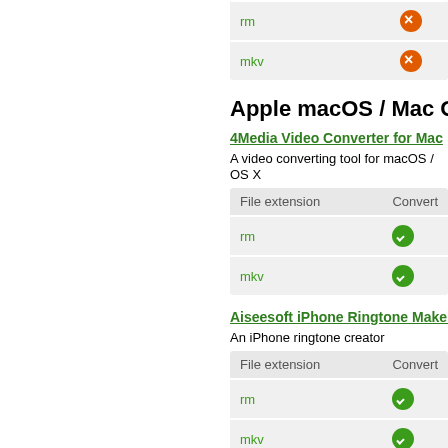| File extension | Convert |
| --- | --- |
| rm | no |
| mkv | no |
Apple macOS / Mac OS X software
4Media Video Converter for Mac
A video converting tool for macOS / OS X
| File extension | Convert |
| --- | --- |
| rm | yes |
| mkv | yes |
Aiseesoft iPhone Ringtone Maker fo...
An iPhone ringtone creator
| File extension | Convert |
| --- | --- |
| rm | yes |
| mkv | yes |
Pavtube HD Video Converter for Mac...
Universal video converting software for Mac